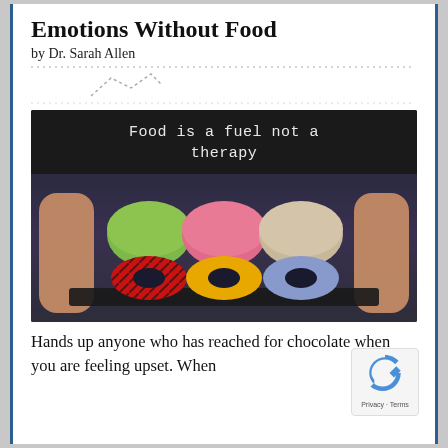Emotions Without Food
by Dr. Sarah Allen
[Figure (photo): Hands holding an open box containing colorful macarons and decorated donuts. The inside lid of the box reads 'Food is a fuel not a therapy' in white monospace text on a dark background.]
Hands up anyone who has reached for chocolate when you are feeling upset. When